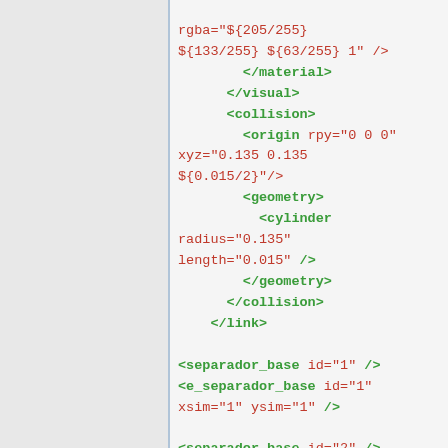rgba="${205/255} ${133/255} ${63/255} 1" />
</material>
</visual>
<collision>
<origin rpy="0 0 0" xyz="0.135 0.135 ${0.015/2}"/>
<geometry>
<cylinder radius="0.135" length="0.015" />
</geometry>
</collision>
</link>

<separador_base id="1" />
<e_separador_base id="1" xsim="1" ysim="1" />

<separador_base id="2" />
<e_separador_base id="2" xsim="1" ysim="-1" />

<separador_base id="3" />